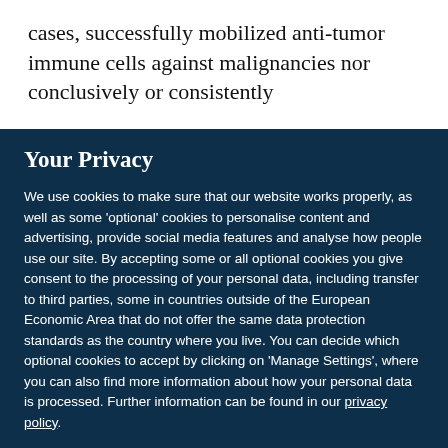cases, successfully mobilized anti-tumor immune cells against malignancies nor conclusively or consistently
Your Privacy
We use cookies to make sure that our website works properly, as well as some ‘optional’ cookies to personalise content and advertising, provide social media features and analyse how people use our site. By accepting some or all optional cookies you give consent to the processing of your personal data, including transfer to third parties, some in countries outside of the European Economic Area that do not offer the same data protection standards as the country where you live. You can decide which optional cookies to accept by clicking on ‘Manage Settings’, where you can also find more information about how your personal data is processed. Further information can be found in our privacy policy.
Accept all cookies
Manage preferences